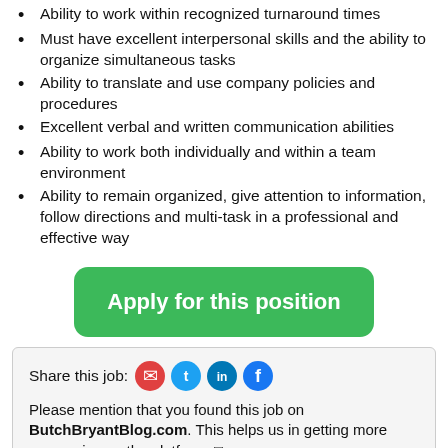Ability to work within recognized turnaround times
Must have excellent interpersonal skills and the ability to organize simultaneous tasks
Ability to translate and use company policies and procedures
Excellent verbal and written communication abilities
Ability to work both individually and within a team environment
Ability to remain organized, give attention to information, follow directions and multi-task in a professional and effective way
Apply for this position
Share this job:
Please mention that you found this job on ButchBryantBlog.com. This helps us in getting more companies on the platform.